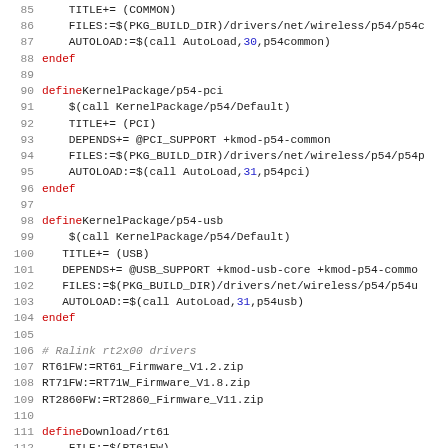Source code listing lines 85-116, Makefile for wireless drivers (p54, Ralink rt2x00)